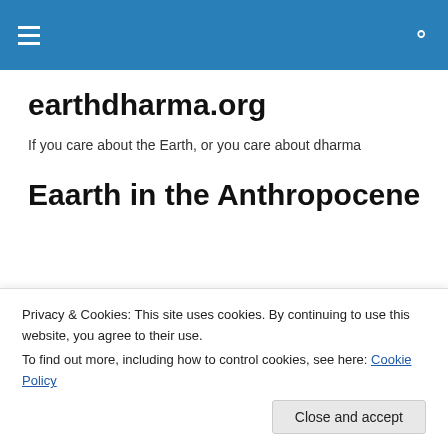earthdharma.org navigation bar
earthdharma.org
If you care about the Earth, or you care about dharma
Eaarth in the Anthropocene
[Figure (photo): GSA TODAY magazine cover image with orange and blue text on a cover showing a building/industrial structure]
Privacy & Cookies: This site uses cookies. By continuing to use this website, you agree to their use.
To find out more, including how to control cookies, see here: Cookie Policy
Close and accept